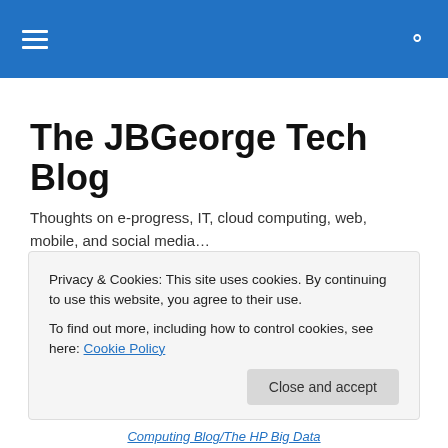The JBGeorge Tech Blog (navigation bar)
The JBGeorge Tech Blog
Thoughts on e-progress, IT, cloud computing, web, mobile, and social media…
The HP Big Data Reference Architecture: It's Worth Taking a Closer Look
Privacy & Cookies: This site uses cookies. By continuing to use this website, you agree to their use.
To find out more, including how to control cookies, see here: Cookie Policy
Close and accept
Computing Blog/The HP Big Data